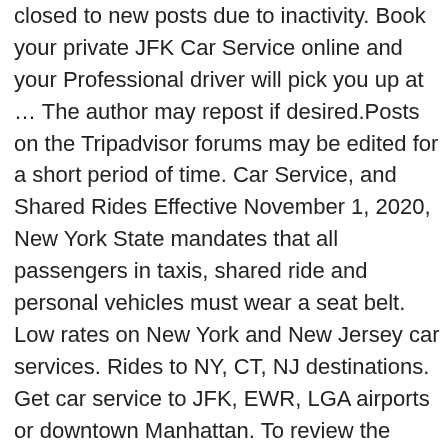closed to new posts due to inactivity. Book your private JFK Car Service online and your Professional driver will pick you up at … The author may repost if desired.Posts on the Tripadvisor forums may be edited for a short period of time. Car Service, and Shared Rides Effective November 1, 2020, New York State mandates that all passengers in taxis, shared ride and personal vehicles must wear a seat belt. Low rates on New York and New Jersey car services. Rides to NY, CT, NJ destinations. Get car service to JFK, EWR, LGA airports or downtown Manhattan. To review the Tripadvisor Forums Posting Guidelines, please follow this link: http://www.tripadvisor.com/pages/forums_posting_guidelines.ht Manhattan, 5 Boroughs, Long Island, Nassau, Suffolk, Rockland, Westchester, NJ, CT, other areas More Info. We believe that every drive should be a pleasure coupled with efficiency. So when you are travelling to and from the John F Kennedy airport in New York, which is one of the busiest airports in the world, then book yourself a JFK Airport car